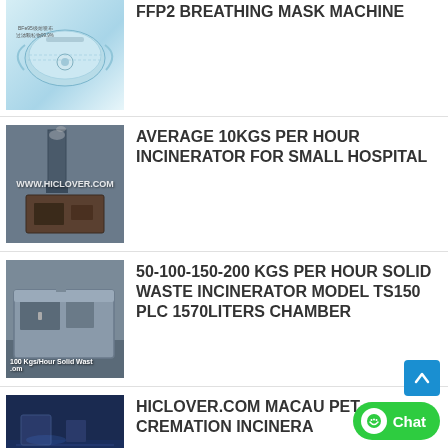[Figure (photo): FFP2 breathing mask product illustration with Chinese text labels showing mask layers]
FFP2 BREATHING MASK MACHINE
[Figure (photo): Industrial incinerator equipment outdoors with chimney stack, watermark WWW.HICLOVER.COM]
AVERAGE 10KGS PER HOUR INCINERATOR FOR SMALL HOSPITAL
[Figure (photo): Grey solid waste incinerator machine in warehouse, labeled 100 Kgs/Hour Solid Waste]
50-100-150-200 KGS PER HOUR SOLID WASTE INCINERATOR MODEL TS150 PLC 1570LITERS CHAMBER
[Figure (photo): Pet cremation incinerator facility interior, www.hiclover.com watermark]
HICLOVER.COM MACAU PET CREMATION INCINERA…